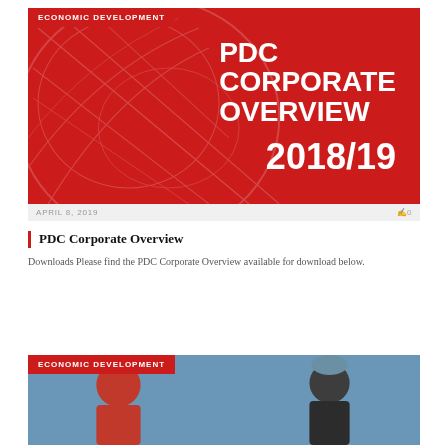[Figure (illustration): PDC Corporate Overview 2018/19 cover image — dark red background with geometric line art of an eagle, white bold text reading PDC CORPORATE OVERVIEW 2018/19, and a red badge labeled ECONOMIC DEVELOPMENT in top-left corner]
APRIL 8, 2019
0
PDC Corporate Overview
Downloads Please find the PDC Corporate Overview available for download below.
[Figure (photo): Photo of two people outdoors against a blue sky, with a red ECONOMIC DEVELOPMENT badge in the top-left corner]